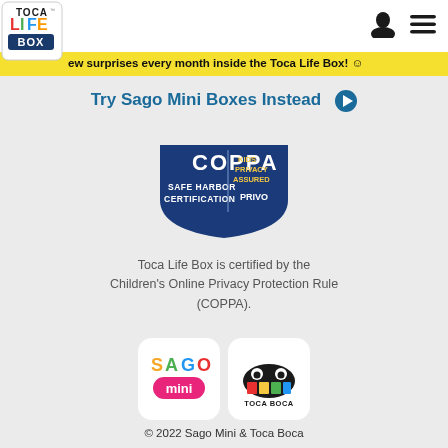[Figure (logo): Toca Life Box logo in top-left corner]
New surprises every month inside the Toca Life Box! 😊
Try Sago Mini Boxes Instead ▶
[Figure (logo): COPPA Safe Harbor Certification badge - Kids Privacy Assured by PRIVO]
Toca Life Box is certified by the Children's Online Privacy Protection Rule (COPPA).
[Figure (logo): Sago Mini logo and Toca Boca logo side by side in white rounded boxes]
© 2022 Sago Mini & Toca Boca